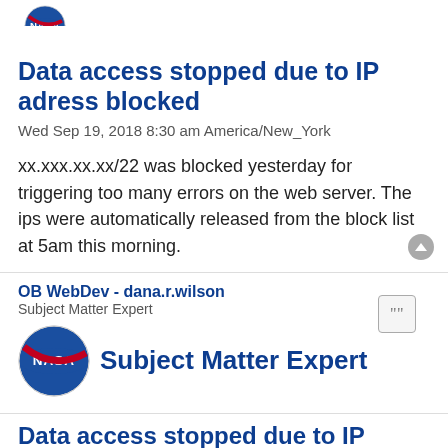[Figure (logo): Partial NASA logo circle at top of page]
Data access stopped due to IP adress blocked
Wed Sep 19, 2018 8:30 am America/New_York
xx.xxx.xx.xx/22 was blocked yesterday for triggering too many errors on the web server. The ips were automatically released from the block list at 5am this morning.
OB WebDev - dana.r.wilson
Subject Matter Expert
[Figure (logo): NASA logo with text 'Subject Matter Expert' in blue beside it]
Data access stopped due to IP